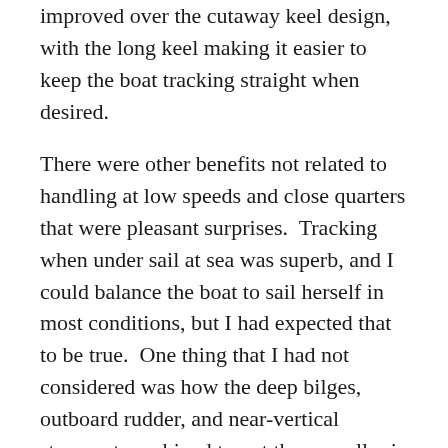improved over the cutaway keel design, with the long keel making it easier to keep the boat tracking straight when desired.
There were other benefits not related to handling at low speeds and close quarters that were pleasant surprises.  Tracking when under sail at sea was superb, and I could balance the boat to sail herself in most conditions, but I had expected that to be true.  One thing that I had not considered was how the deep bilges, outboard rudder, and near-vertical sternpost combined to put the propeller in a location where I could reach it from the dinghy.  What luxury to be able to keep the prop clean without having to dive under the boat!  I suspect that I may have also been able to